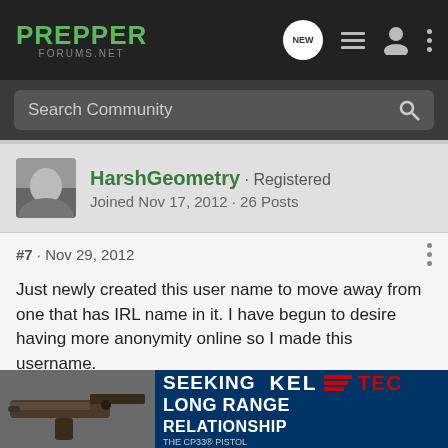PREPPER FORUMS.NET
Search Community
HarshGeometry · Registered
Joined Nov 17, 2012 · 26 Posts
#7 · Nov 29, 2012
Just newly created this user name to move away from one that has IRL name in it. I have begun to desire having more anonymity online so I made this username.
I don't really know why I chose this name I made it for a game username first now I'm using it here.

I've come to attach a meaning to the name though. I think that its relate... amazing... ics behind...
[Figure (screenshot): Advertisement banner for Kel-Tec CP33 Pistol with text SEEKING LONG RANGE RELATIONSHIP overlaid on gun image]